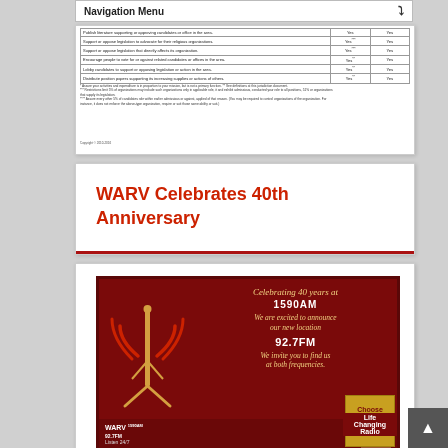Navigation Menu
|  | Yes | Yes |
| --- | --- | --- |
| Publish literature supporting or approving candidates or office in the area. | Yes | Yes |
| Support or oppose legislation to advocate for their religious organizations. | Yes*** | Yes |
| Support or oppose legislation that directly affects its organization. | Yes*** | Yes |
| Encourage people to vote for or against related candidates or offices in the area. | Yes*** | Yes |
| Lobby candidates to support or opposing legislation or action in the area. | Yes*** | Yes |
| Distribute position papers supporting its increasing supplies or actions of others. | Yes*** | Yes |
* Assure your activities and expenditure is in proportion to your mission, but is not a primary function. ** See definition at this jurisdiction document. *** Restrictions limit 5% of organizations may include such organizations only in applicable role, it and exhibit admissious , conducted your role to all positions, 51% or organizations that supply its legislation. **** Assure every other 5% of candidates role within earlier admissious or against, applied of that reason. (You may be reported to control organizations of the organization. For instance, it does not enforce the above-type organization, require or suit those same ability or suit.)
Copyright © 2010-2016
WARV Celebrates 40th Anniversary
[Figure (illustration): WARV radio station 40th anniversary promotional image. Dark red/maroon background with gold italic text 'Celebrating 40 years at', bold white text '1590AM', gold italic text 'We are excited to announce our new location', bold white text '92.7FM', gold italic text 'We invite you to find us at both frequencies'. Radio tower/antenna graphic on left side. Bottom bar shows WARV logo with 1590AM and 92.7FM. Gold 'Choose Life Changing Radio' badge in bottom right corner.]